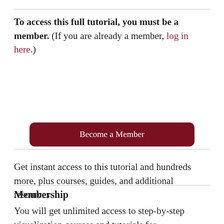To access this full tutorial, you must be a member. (If you are already a member, log in here.)
Get instant access to this tutorial and hundreds more, plus courses, guides, and additional resources.
[Figure (other): Dark red rounded button labeled 'Become a Member']
Membership
You will get unlimited access to step-by-step visualization courses and tutorials for